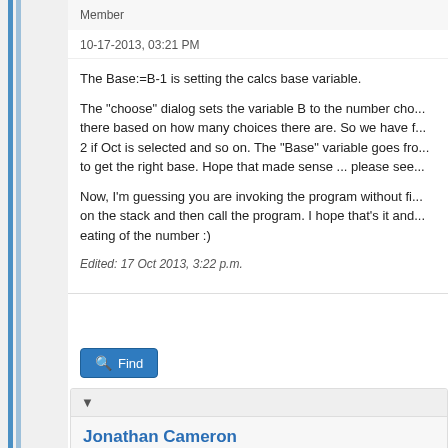Member
10-17-2013, 03:21 PM
The Base:=B-1 is setting the calcs base variable.
The "choose" dialog sets the variable B to the number cho... there based on how many choices there are. So we have f... 2 if Oct is selected and so on. The "Base" variable goes fro... to get the right base. Hope that made sense ... please see...
Now, I'm guessing you are invoking the program without fi... on the stack and then call the program. I hope that's it and... eating of the number :)
Edited: 17 Oct 2013, 3:22 p.m.
Find
▼
Jonathan Cameron
Junior Member